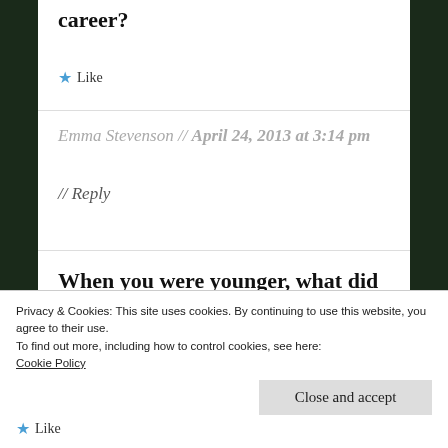career?
★ Like
Emma Stevenson // April 24, 2013 at 3:14 pm
// Reply
When you were younger, what did you want to be when you grow up? Do the characters from the mighty
Privacy & Cookies: This site uses cookies. By continuing to use this website, you agree to their use.
To find out more, including how to control cookies, see here:
Cookie Policy
Close and accept
★ Like